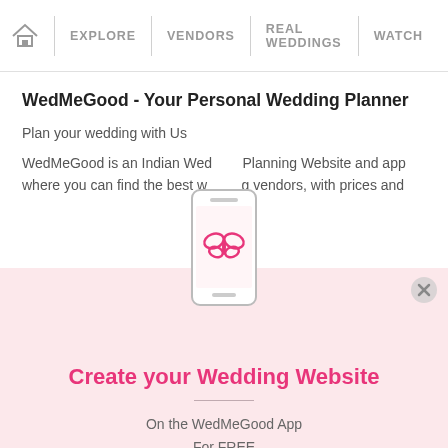🏠 | EXPLORE | VENDORS | REAL WEDDINGS | WATCH
WedMeGood - Your Personal Wedding Planner
Plan your wedding with Us
WedMeGood is an Indian Wedding Planning Website and app where you can find the best wedding vendors, with prices and
[Figure (illustration): Phone illustration with WedMeGood butterfly logo on screen, shown as a pop-up modal element]
Create your Wedding Website
On the WedMeGood App
For FREE
Create Now